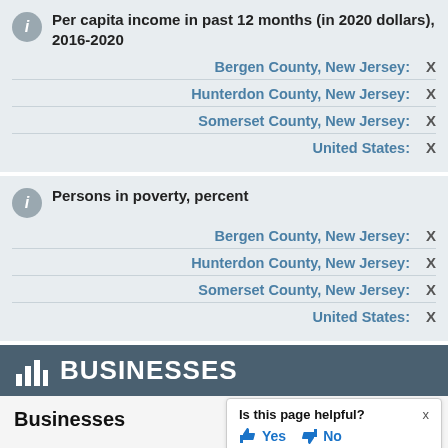Per capita income in past 12 months (in 2020 dollars), 2016-2020
| Geography | Value |
| --- | --- |
| Bergen County, New Jersey: | X |
| Hunterdon County, New Jersey: | X |
| Somerset County, New Jersey: | X |
| United States: | X |
Persons in poverty, percent
| Geography | Value |
| --- | --- |
| Bergen County, New Jersey: | X |
| Hunterdon County, New Jersey: | X |
| Somerset County, New Jersey: | X |
| United States: | X |
BUSINESSES
Businesses
Is this page helpful? Yes No